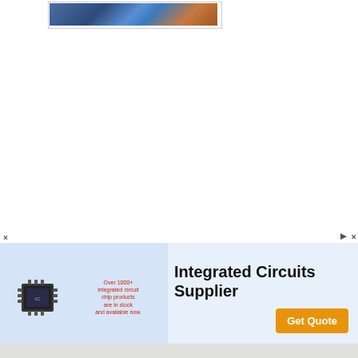[Figure (photo): Small thumbnail image showing people, partially cropped, with blue and orange tones]
[Figure (other): Large white blank/empty content area]
[Figure (infographic): Advertisement banner for Kynix Integrated Circuits Supplier. Contains chip image on blue background with red text 'Over 1000+ integrated circuit chip products are in stock and available now.', large text 'Integrated Circuits Supplier', orange Get Quote button, and Kynix logo at bottom.]